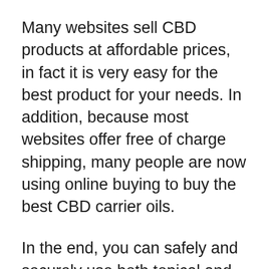Many websites sell CBD products at affordable prices, in fact it is very easy for the best product for your needs. In addition, because most websites offer free of charge shipping, many people are now using online buying to buy the best CBD carrier oils.
In the end, you can safely and securely use both topical and products and CBD oil if you want to alleviate the symptoms caused by your ailments. Both products work nicely together in order to provide you with effective treatment for inflammation and chronic pain, and you will definitely spot the difference in the results.
If you take care of one's body in a constant manner, it is possible to fight against any